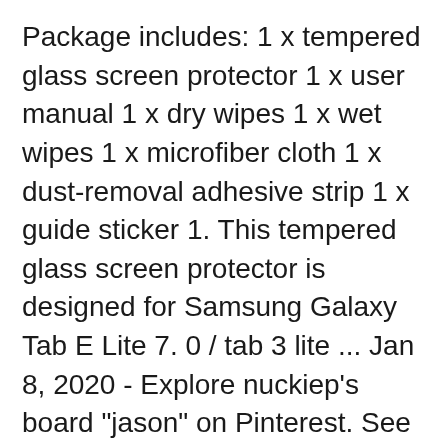Package includes: 1 x tempered glass screen protector 1 x user manual 1 x dry wipes 1 x wet wipes 1 x microfiber cloth 1 x dust-removal adhesive strip 1 x guide sticker 1. This tempered glass screen protector is designed for Samsung Galaxy Tab E Lite 7. 0 / tab 3 lite ... Jan 8, 2020 - Explore nuckiep's board "jason" on Pinterest. See more ideas about Little boy fashion, Kids outfits and Baby boy fashion. Galaxy Kids Tablet 7.0” THE LEGO® NINJAGO® MOVIE Edition Tablets - SM-T113NDWNCCC Samsung US.
We spent many hours on research to finding tablets kids on sale, reading